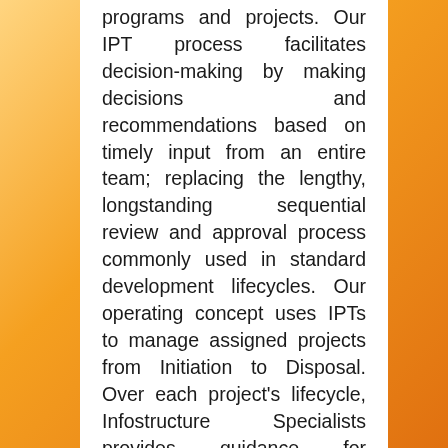programs and projects. Our IPT process facilitates decision-making by making decisions and recommendations based on timely input from an entire team; replacing the lengthy, longstanding sequential review and approval process commonly used in standard development lifecycles. Our operating concept uses IPTs to manage assigned projects from Initiation to Disposal. Over each project's lifecycle, Infostructure Specialists provides guidance for identifying and selecting cross-functional team members (i.e., stakeholders) required for the team to achieve its mission. The